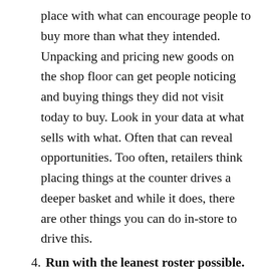place with what can encourage people to buy more than what they intended. Unpacking and pricing new goods on the shop floor can get people noticing and buying things they did not visit today to buy. Look in your data at what sells with what. Often that can reveal opportunities. Too often, retailers think placing things at the counter drives a deeper basket and while it does, there are other things you can do in-store to drive this.
4. Run with the leanest roster possible. Just about every retail business we review has capacity to lower labour costs. Trimming the roster can come at a cost for the owners – putting in more hours. There are other ways to enable